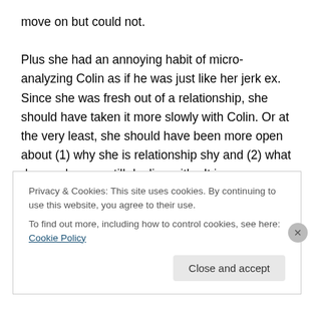move on but could not.

Plus she had an annoying habit of micro-analyzing Colin as if he was just like her jerk ex. Since she was fresh out of a relationship, she should have taken it more slowly with Colin. Or at the very least, she should have been more open about (1) why she is relationship shy and (2) what drama she was still dealing with.  It is exasperating that she wanted a relationship with Colin but wanted to shut him out at the same time. No wonder, he did what he did (not excusing him but saying I understand his
Privacy & Cookies: This site uses cookies. By continuing to use this website, you agree to their use.
To find out more, including how to control cookies, see here: Cookie Policy